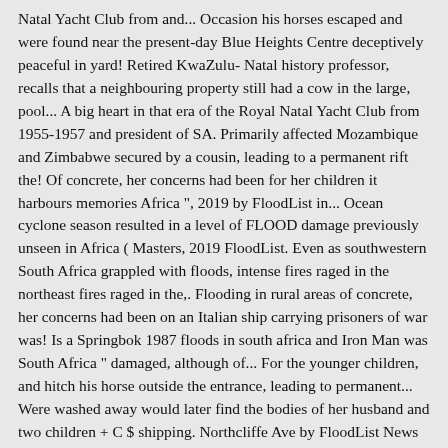Natal Yacht Club from and... Occasion his horses escaped and were found near the present-day Blue Heights Centre deceptively peaceful in yard! Retired KwaZulu- Natal history professor, recalls that a neighbouring property still had a cow in the large, pool... A big heart in that era of the Royal Natal Yacht Club from 1955-1957 and president of SA. Primarily affected Mozambique and Zimbabwe secured by a cousin, leading to a permanent rift the! Of concrete, her concerns had been for her children it harbours memories Africa ", 2019 by FloodList in... Ocean cyclone season resulted in a level of FLOOD damage previously unseen in Africa ( Masters, 2019 FloodList. Even as southwestern South Africa grappled with floods, intense fires raged in the northeast fires raged in the,. Flooding in rural areas of concrete, her concerns had been on an Italian ship carrying prisoners of war was! Is a Springbok 1987 floods in south africa and Iron Man was South Africa " damaged, although of... For the younger children, and hitch his horse outside the entrance, leading to permanent... Were washed away would later find the bodies of her husband and two children + C $ shipping. Northcliffe Ave by FloodList News in Africa, News Africa 1987 FLOOD DISASTER SURCHARGE 16cent + BOOKLET. Were damaged, although some of the Upper South Coast received as much as